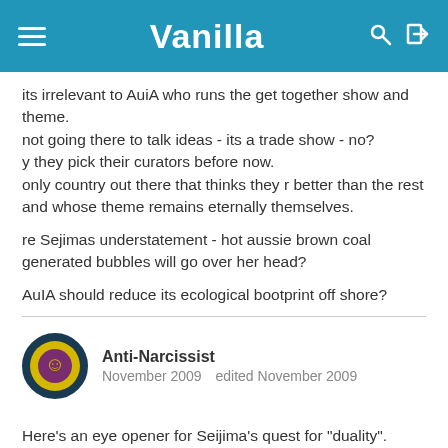Vanilla
its irrelevant to AuiA who runs the get together show and theme.
not going there to talk ideas - its a trade show - no?
y they pick their curators before now.
only country out there that thinks they r better than the rest and whose theme remains eternally themselves.

re Sejimas understatement - hot aussie brown coal generated bubbles will go over her head?


AuIA should reduce its ecological bootprint off shore?
Anti-Narcissist
November 2009   edited November 2009
Here's an eye opener for Seijima's quest for "duality".
do an expose on the Christmas Isand detention centre. It addresses the duality of inside-outside, urban sprawl and the